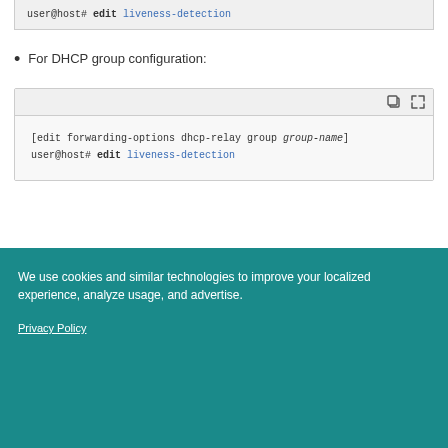user@host# edit liveness-detection
For DHCP group configuration:
[edit forwarding-options dhcp-relay group group-name]
user@host# edit liveness-detection
We use cookies and similar technologies to improve your localized experience, analyze usage, and advertise.
Privacy Policy
OK
Cookie Settings